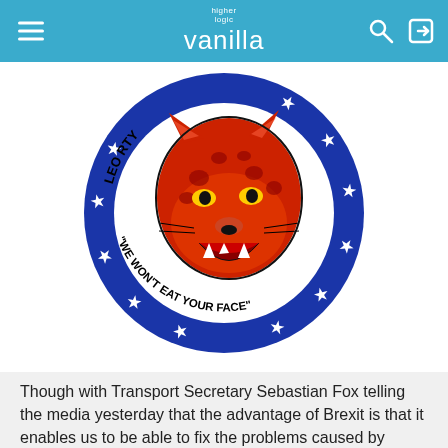higher logic vanilla
[Figure (logo): Circular logo with blue border and white stars. Red leopard/jaguar head in center on white background. Text around circle reads 'LEO...RTY' at top and '"WE WON'T EAT YOUR FACE"' at bottom. Leopards Eating Faces party logo.]
Though with Transport Secretary Sebastian Fox telling the media yesterday that the advantage of Brexit is that it enables us to be able to fix the problems caused by Brexit, Leapoards Eating Faces party may just be the Conservatives